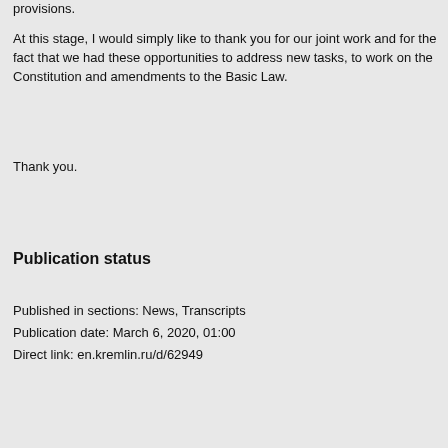provisions.
At this stage, I would simply like to thank you for our joint work and for the fact that we had these opportunities to address new tasks, to work on the Constitution and amendments to the Basic Law.
Thank you.
Publication status
Published in sections: News, Transcripts
Publication date: March 6, 2020, 01:00
Direct link: en.kremlin.ru/d/62949